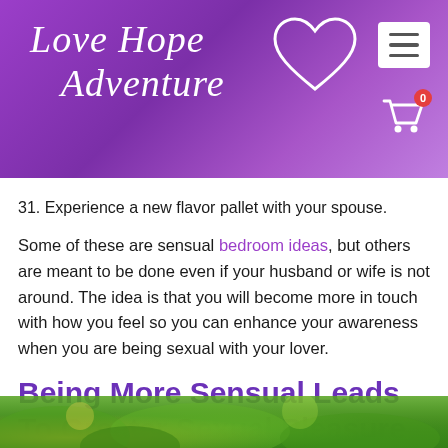[Figure (logo): Love Hope Adventure logo with heart outline in white script text on purple gradient header, with hamburger menu button and shopping cart icon with badge showing 0]
31. Experience a new flavor pallet with your spouse.
Some of these are sensual bedroom ideas, but others are meant to be done even if your husband or wife is not around. The idea is that you will become more in touch with how you feel so you can enhance your awareness when you are being sexual with your lover.
Being More Sensual Leads To Greater Sexual Pleasure
[Figure (photo): Outdoor photo showing green foliage and trees at the bottom of the page]